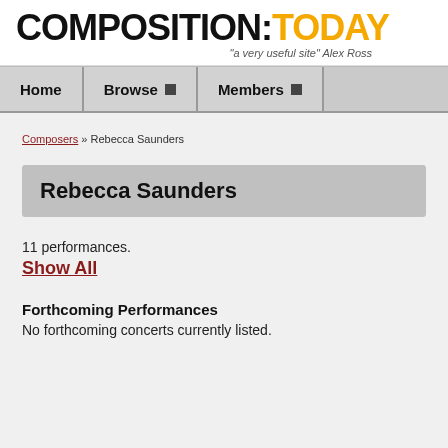COMPOSITION:TODAY — "a very useful site" Alex Ross
[Figure (screenshot): Navigation bar with Home, Browse, Members links]
Composers » Rebecca Saunders
Rebecca Saunders
11 performances.
Show All
Forthcoming Performances
No forthcoming concerts currently listed.